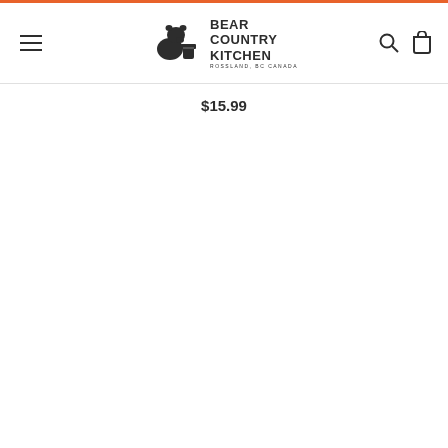Bear Country Kitchen - Rossland, BC Canada
$15.99